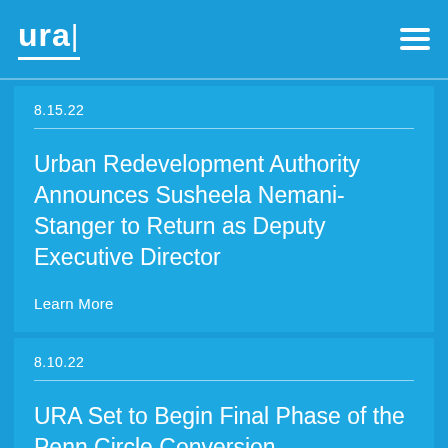ura
8.15.22
Urban Redevelopment Authority Announces Susheela Nemani-Stanger to Return as Deputy Executive Director
Learn More
8.10.22
URA Set to Begin Final Phase of the Penn Circle Conversion